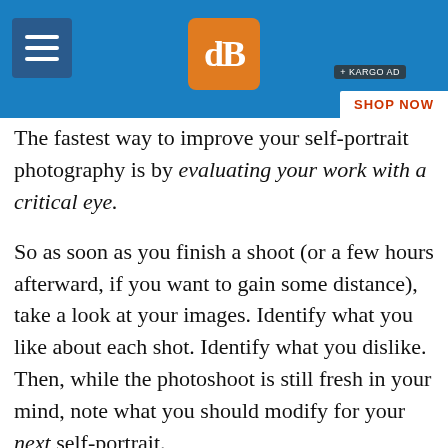dPS website header with hamburger menu, logo, and SHOP NOW ad
The fastest way to improve your self-portrait photography is by evaluating your work with a critical eye.
So as soon as you finish a shoot (or a few hours afterward, if you want to gain some distance), take a look at your images. Identify what you like about each shot. Identify what you dislike. Then, while the photoshoot is still fresh in your mind, note what you should modify for your next self-portrait.
Pretty soon, you'll have a sense of what you want